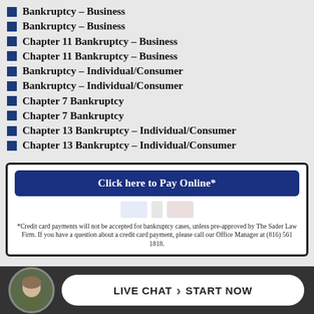Bankruptcy – Business
Bankruptcy – Business
Chapter 11 Bankruptcy – Business
Chapter 11 Bankruptcy – Business
Bankruptcy – Individual/Consumer
Bankruptcy – Individual/Consumer
Chapter 7 Bankruptcy
Chapter 7 Bankruptcy
Chapter 13 Bankruptcy – Individual/Consumer
Chapter 13 Bankruptcy – Individual/Consumer
[Figure (screenshot): Click here to Pay Online button with credit card icons and footnote about credit card payments for bankruptcy cases]
*Credit card payments will not be accepted for bankruptcy cases, unless pre-approved by The Sader Law Firm. If you have a question about a credit card payment, please call our Office Manager at (816) 561 1818.
[Figure (screenshot): Live Chat – Start Now button with attorney photo avatar on dark bar]